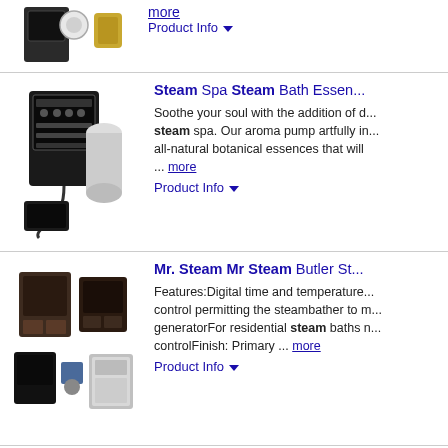[Figure (photo): Partial product image at top of page showing steam bath accessories]
more
Product Info ▼
[Figure (photo): Steam Spa Steam Bath Essential product image showing control panel and accessories]
Steam Spa Steam Bath Essen...
Soothe your soul with the addition of d... steam spa. Our aroma pump artfully in... all-natural botanical essences that will ... more
Product Info ▼
[Figure (photo): Mr. Steam Mr Steam Butler product image showing multiple control panels]
Mr. Steam Mr Steam Butler St...
Features:Digital time and temperature... control permitting the steambather to m... generatorFor residential steam baths n... controlFinish: Primary ... more
Product Info ▼
[Figure (photo): Mr. Steam 7.5 kW Steam Generator product image showing control panel and generator unit]
Mr. Steam 7.5 kW Steam Gen...
eSeries Generators are crafted from m... with meticulous attention to detail. Des... Island City, NY to the most exacting sta... ... more
Product Info ▼
[Figure (photo): Mr. Steam Aromasteam product showing a round gold-colored steam aroma accessory]
Mr. Steam Aromasteam Steam...
MrSteam Aroma Designer Round Ste... iTempoPlus)Features:The features an... or white glass face complements the...